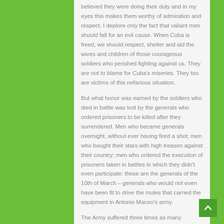believed they were doing their duty and in my eyes this makes them worthy of admiration and respect. I deplore only the fact that valiant men should fall for an evil cause. When Cuba is freed, we should respect, shelter and aid the wives and children of those courageous soldiers who perished fighting against us. They are not to blame for Cuba's miseries. They too are victims of this nefarious situation.
But what honor was earned by the soldiers who died in battle was lost by the generals who ordered prisoners to be killed after they surrendered. Men who became generals overnight, without ever having fired a shot; men who bought their stars with high treason against their country; men who ordered the execution of prisoners taken in battles in which they didn't even participate: these are the generals of the 10th of March – generals who would not even have been fit to drive the mules that carried the equipment in Antonio Maceo's army.
The Army suffered three times as many casualties as we did. That was because our men were expertly